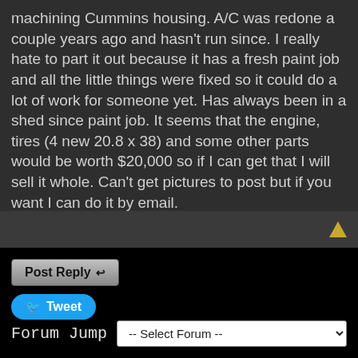machining Cummins housing. A/C was redone a couple years ago and hasn't run since. I really hate to part it out because it has a fresh paint job and all the little things were fixed so it could do a lot of work for someone yet. Has always been in a shed since paint job. It seems that the engine, tires (4 new 20.8 x 38) and some other parts would be worth $20,000 so if I can get that I will sell it whole. Can't get pictures to post but if you want I can do it by email.
[Figure (screenshot): Post Reply button with reply icon]
[Figure (screenshot): Tweet button with Twitter bird icon]
Forum Jump -- Select Forum --